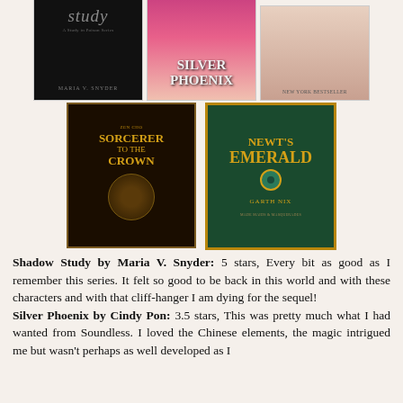[Figure (photo): Three book covers in a row at top: 'Shadow Study' by Maria V. Snyder (dark cover), 'Silver Phoenix' (pink/floral cover), and a third book with a woman on the cover (historical fiction look)]
[Figure (photo): Two book covers side by side: 'Zen Cho - Sorcerer to the Crown' (ornate black and gold cover with skull motif) and 'Newt's Emerald' by Garth Nix (teal and gold cover)]
Shadow Study by Maria V. Snyder: 5 stars, Every bit as good as I remember this series. It felt so good to be back in this world and with these characters and with that cliff-hanger I am dying for the sequel!
Silver Phoenix by Cindy Pon: 3.5 stars, This was pretty much what I had wanted from Soundless. I loved the Chinese elements, the magic intrigued me but wasn't perhaps as well developed as I